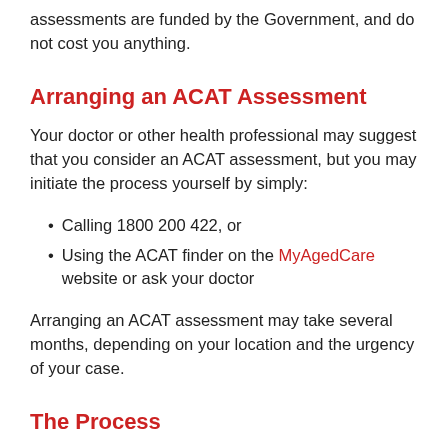assessments are funded by the Government, and do not cost you anything.
Arranging an ACAT Assessment
Your doctor or other health professional may suggest that you consider an ACAT assessment, but you may initiate the process yourself by simply:
Calling 1800 200 422, or
Using the ACAT finder on the MyAgedCare website or ask your doctor
Arranging an ACAT assessment may take several months, depending on your location and the urgency of your case.
The Process
The ACAT member will visit you in your home, or hospital if